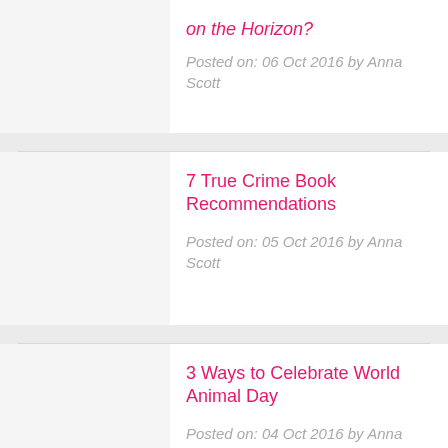on the Horizon?
Posted on: 06 Oct 2016 by Anna Scott
7 True Crime Book Recommendations
Posted on: 05 Oct 2016 by Anna Scott
3 Ways to Celebrate World Animal Day
Posted on: 04 Oct 2016 by Anna Scott